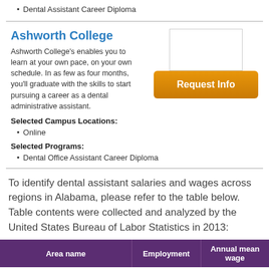Dental Assistant Career Diploma
Ashworth College
Ashworth College's enables you to learn at your own pace, on your own schedule. In as few as four months, you'll graduate with the skills to start pursuing a career as a dental administrative assistant.
Selected Campus Locations:
Online
Selected Programs:
Dental Office Assistant Career Diploma
To identify dental assistant salaries and wages across regions in Alabama, please refer to the table below. Table contents were collected and analyzed by the United States Bureau of Labor Statistics in 2013:
| Area name | Employment | Annual mean wage |
| --- | --- | --- |